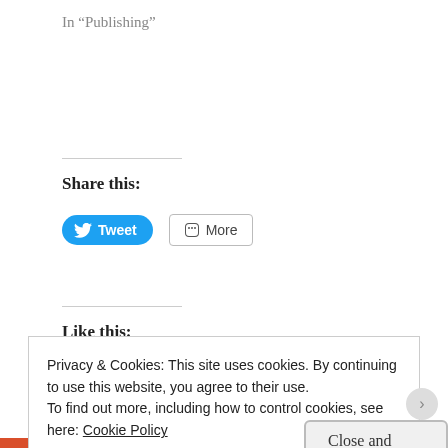In “Publishing”
Share this:
[Figure (screenshot): Blue Tweet button with Twitter bird icon and grey More button with share icon]
Like this:
Loading…
[Figure (infographic): Grey arrow-shaped tag buttons: AUTHOR, CHATTING, FIRST DRAFT, MANUSCRIPTS, PANTSING]
Privacy & Cookies: This site uses cookies. By continuing to use this website, you agree to their use.
To find out more, including how to control cookies, see here: Cookie Policy
Close and accept